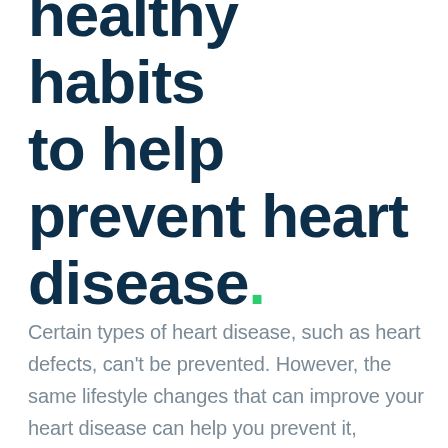healthy habits to help prevent heart disease.
Certain types of heart disease, such as heart defects, can't be prevented. However, the same lifestyle changes that can improve your heart disease can help you prevent it, including: